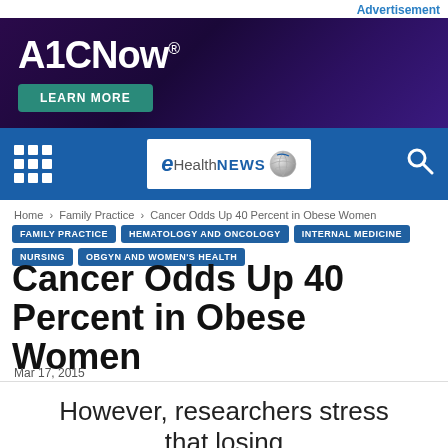Advertisement
[Figure (illustration): A1CNow brand banner with dark purple gradient background showing 'A1CNow®' in large white bold text and a teal 'LEARN MORE' button]
[Figure (logo): eHealthNEWS navigation bar with grid menu icon on left, eHealthNEWS logo in center on white background, and search icon on right, all on blue background]
Home › Family Practice › Cancer Odds Up 40 Percent in Obese Women
FAMILY PRACTICE   HEMATOLOGY AND ONCOLOGY   INTERNAL MEDICINE   NURSING   OBGYN AND WOMEN'S HEALTH
Cancer Odds Up 40 Percent in Obese Women
Mar 17, 2015
However, researchers stress that losing